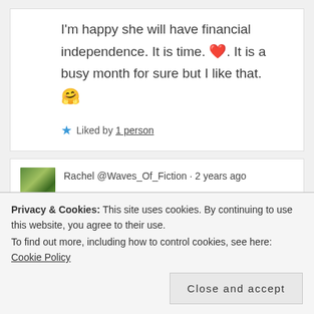I'm happy she will have financial independence. It is time. ❤️. It is a busy month for sure but I like that. 🤗
★ Liked by 1 person
Rachel @Waves_Of_Fiction · 2 years ago
around for employment because of
Privacy & Cookies: This site uses cookies. By continuing to use this website, you agree to their use. To find out more, including how to control cookies, see here: Cookie Policy
Close and accept